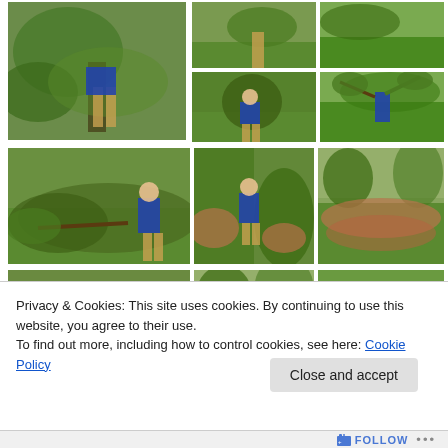[Figure (photo): Grid of outdoor garden photos showing a child in a blue sweater playing and working with large branches and leaves on green grass, with hedges in the background. 8 photos arranged in a 3-column grid.]
Privacy & Cookies: This site uses cookies. By continuing to use this website, you agree to their use.
To find out more, including how to control cookies, see here: Cookie Policy
Close and accept
FOLLOW ...